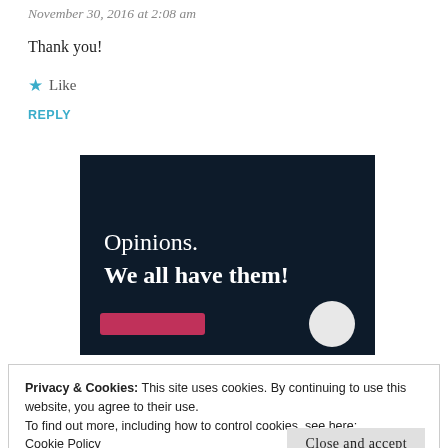November 30, 2016 at 2:08 am
Thank you!
★ Like
REPLY
[Figure (illustration): Dark navy advertisement banner with white serif text reading 'Opinions. We all have them!' with a pink button and light circle at the bottom.]
Privacy & Cookies: This site uses cookies. By continuing to use this website, you agree to their use.
To find out more, including how to control cookies, see here:
Cookie Policy
Close and accept